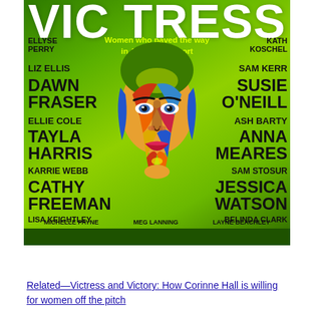[Figure (illustration): Book cover of 'Victress: Women who paved the way in Australian Sport' by Corinne Hall & Michael Randall. Features a colorful illustrated face on green background with names of Australian sportswomen.]
Related—Victress and Victory: How Corinne Hall is willing for women off the pitch